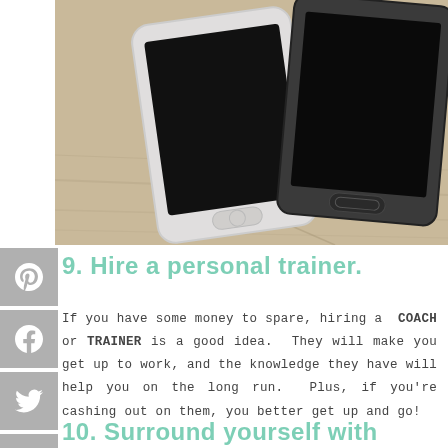[Figure (photo): Two smartphones (one white, one black) lying on a light wood surface, photographed from above]
9. Hire a personal trainer.
If you have some money to spare, hiring a COACH or TRAINER is a good idea. They will make you get up to work, and the knowledge they have will help you on the long run. Plus, if you're cashing out on them, you better get up and go!
10. Surround yourself with